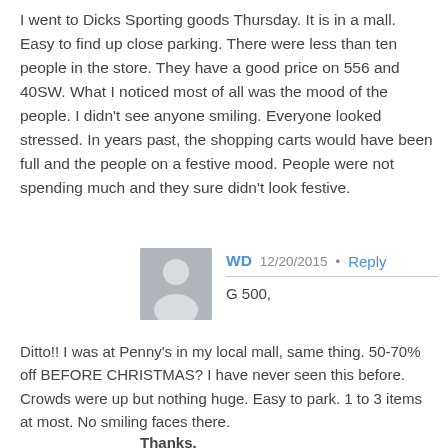I went to Dicks Sporting goods Thursday. It is in a mall. Easy to find up close parking. There were less than ten people in the store. They have a good price on 556 and 40SW. What I noticed most of all was the mood of the people. I didn't see anyone smiling. Everyone looked stressed. In years past, the shopping carts would have been full and the people on a festive mood. People were not spending much and they sure didn't look festive.
[Figure (illustration): Gray placeholder avatar icon showing a silhouette of a person]
WD   12/20/2015 • Reply
G 500,
Ditto!! I was at Penny's in my local mall, same thing. 50-70% off BEFORE CHRISTMAS? I have never seen this before. Crowds were up but nothing huge. Easy to park. 1 to 3 items at most. No smiling faces there.
Thanks,